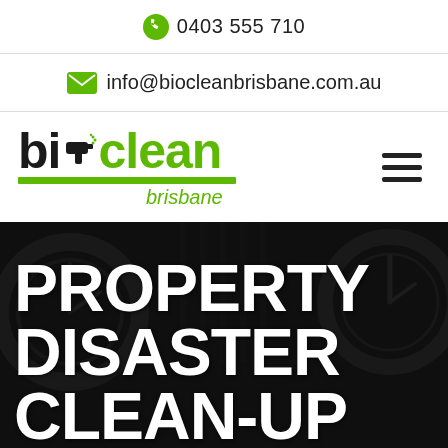0403 555 710
info@biocleanbrisbane.com.au
[Figure (logo): Bioclean Brisbane logo with green spray gun icon, bold black 'bio' and green 'clean' text, green underline bar, italic 'brisbane' in green below]
PROPERTY DISASTER CLEAN-UP